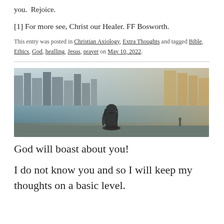you. Rejoice.
[1] For more see, Christ our Healer. FF Bosworth.
This entry was posted in Christian Axiology, Extra Thoughts and tagged Bible, Ethics, God, healling, Jesus, prayer on May 10, 2022.
[Figure (photo): A person with long hair seen from behind, sitting near a waterfront with a city skyline in the background. Black and white/muted tones with warm highlights on the right side buildings.]
God will boast about you!
I do not know you and so I will keep my thoughts on a basic level.